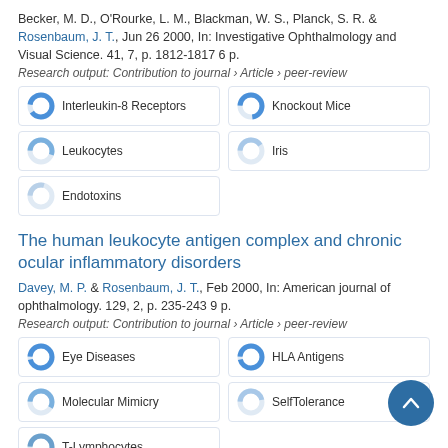Becker, M. D., O'Rourke, L. M., Blackman, W. S., Planck, S. R. & Rosenbaum, J. T., Jun 26 2000, In: Investigative Ophthalmology and Visual Science. 41, 7, p. 1812-1817 6 p.
Research output: Contribution to journal › Article › peer-review
[Figure (infographic): Five keyword badges: Interleukin-8 Receptors, Knockout Mice, Leukocytes, Iris, Endotoxins — each with a donut/pie icon showing fill level]
The human leukocyte antigen complex and chronic ocular inflammatory disorders
Davey, M. P. & Rosenbaum, J. T., Feb 2000, In: American journal of ophthalmology. 129, 2, p. 235-243 9 p.
Research output: Contribution to journal › Article › peer-review
[Figure (infographic): Five keyword badges: Eye Diseases, HLA Antigens, Molecular Mimicry, SelfTolerance, T-Lymphocytes — each with a donut/pie icon showing fill level]